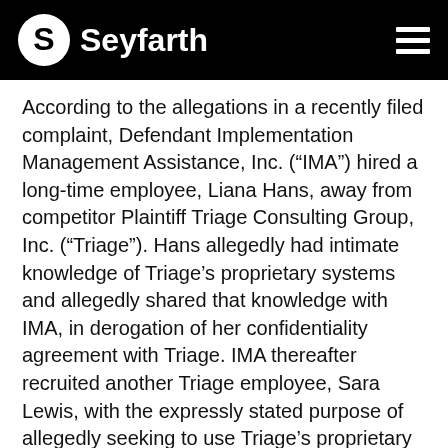[Figure (logo): Seyfarth law firm logo and navigation header with black background, Seyfarth wordmark with circular S icon on left, hamburger menu icon on right]
According to the allegations in a recently filed complaint, Defendant Implementation Management Assistance, Inc. (“IMA”) hired a long-time employee, Liana Hans, away from competitor Plaintiff Triage Consulting Group, Inc. (“Triage”). Hans allegedly had intimate knowledge of Triage’s proprietary systems and allegedly shared that knowledge with IMA, in derogation of her confidentiality agreement with Triage. IMA thereafter recruited another Triage employee, Sara Lewis, with the expressly stated purpose of allegedly seeking to use Triage’s proprietary information and to steal Triage’s clients. Hans and Lewis allegedly assisted in the development of IMA’s own version of Triage’s